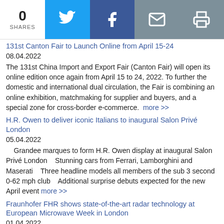0 SHARES | Twitter | Facebook | Email | Print
131st Canton Fair to Launch Online from April 15-24
08.04.2022
The 131st China Import and Export Fair (Canton Fair) will open its online edition once again from April 15 to 24, 2022. To further the domestic and international dual circulation, the Fair is combining an online exhibition, matchmaking for supplier and buyers, and a special zone for cross-border e-commerce. more >>
H.R. Owen to deliver iconic Italians to inaugural Salon Privé London
05.04.2022
Grandee marques to form H.R. Owen display at inaugural Salon Privé London    Stunning cars from Ferrari, Lamborghini and Maserati    Three headline models all members of the sub 3 second 0-62 mph club    Additional surprise debuts expected for the new April event more >>
Fraunhofer FHR shows state-of-the-art radar technology at European Microwave Week in London
01.04.2022
More safety for driver assistance systems and manufacturing of high-frequency structures with 3D printingFuture technology on the Thames: the Fraunhofer Institute for High Frequency Physics and Radar Techniques FHR will present the wide range of i more >>